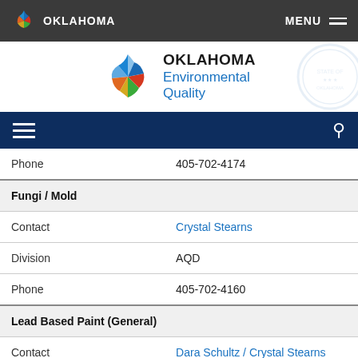OKLAHOMA   MENU
[Figure (logo): Oklahoma Environmental Quality logo with colorful star/flower icon]
| Field | Value |
| --- | --- |
| Phone | 405-702-4174 |
| Fungi / Mold |  |
| Contact | Crystal Stearns |
| Division | AQD |
| Phone | 405-702-4160 |
| Lead Based Paint (General) |  |
| Contact | Dara Schultz / Crystal Stearns |